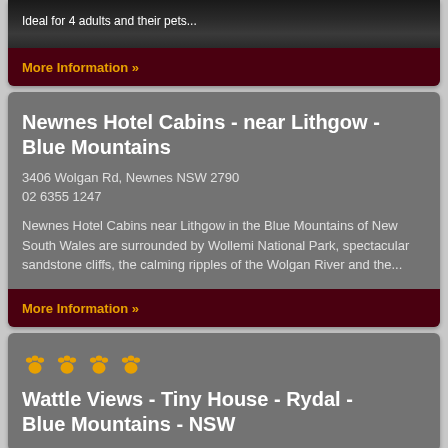Ideal for 4 adults and their pets...
More Information »
Newnes Hotel Cabins - near Lithgow - Blue Mountains
3406 Wolgan Rd, Newnes NSW 2790
02 6355 1247
Newnes Hotel Cabins near Lithgow in the Blue Mountains of New South Wales are surrounded by Wollemi National Park, spectacular sandstone cliffs, the calming ripples of the Wolgan River and the...
More Information »
[Figure (illustration): Four paw print icons in gold/amber color]
Wattle Views - Tiny House - Rydal - Blue Mountains - NSW